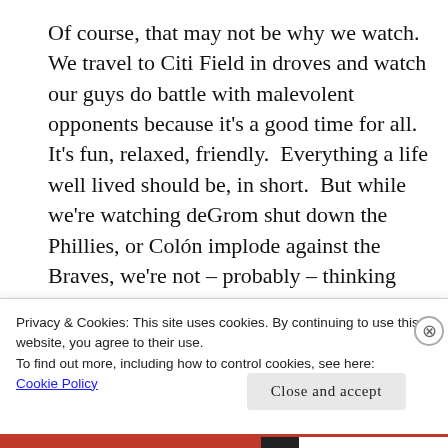Of course, that may not be why we watch.  We travel to Citi Field in droves and watch our guys do battle with malevolent opponents because it's a good time for all.  It's fun, relaxed, friendly.  Everything a life well lived should be, in short.  But while we're watching deGrom shut down the Phillies, or Colón implode against the Braves, we're not – probably – thinking
Privacy & Cookies: This site uses cookies. By continuing to use this website, you agree to their use.
To find out more, including how to control cookies, see here: Cookie Policy
Close and accept